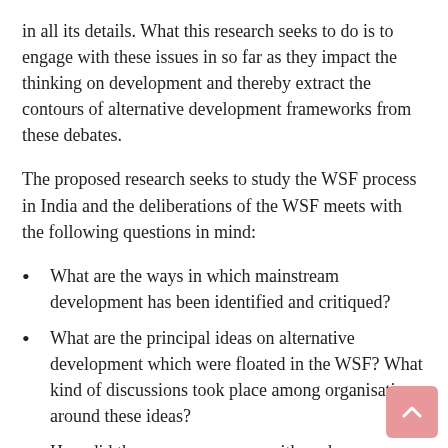in all its details. What this research seeks to do is to engage with these issues in so far as they impact the thinking on development and thereby extract the contours of alternative development frameworks from these debates.
The proposed research seeks to study the WSF process in India and the deliberations of the WSF meets with the following questions in mind:
What are the ways in which mainstream development has been identified and critiqued?
What are the principal ideas on alternative development which were floated in the WSF? What kind of discussions took place among organisations around these ideas?
How did these groups engage with each